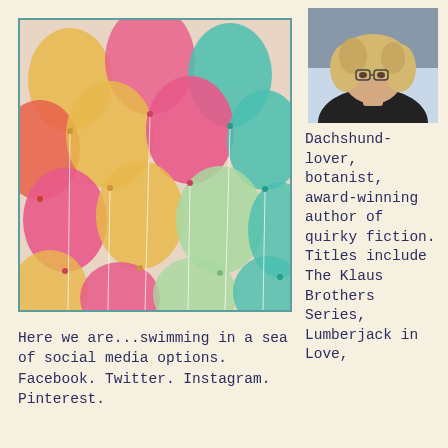[Figure (photo): Colorful balloons (pink, yellow, teal/turquoise) filling the frame, with strings hanging down, photographed from below in a vintage/faded color style]
[Figure (photo): Profile photo of a woman with curly blonde hair wearing glasses and a dark top, seated indoors]
Dachshund-lover, botanist, award-winning author of quirky fiction. Titles include The Klaus Brothers Series, Lumberjack in Love,
Here we are...swimming in a sea of social media options. Facebook. Twitter. Instagram. Pinterest.